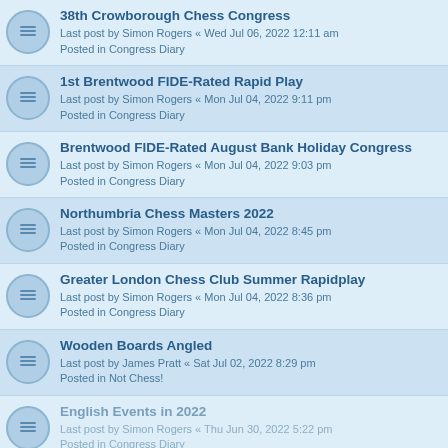38th Crowborough Chess Congress
Last post by Simon Rogers « Wed Jul 06, 2022 12:11 am
Posted in Congress Diary
1st Brentwood FIDE-Rated Rapid Play
Last post by Simon Rogers « Mon Jul 04, 2022 9:11 pm
Posted in Congress Diary
Brentwood FIDE-Rated August Bank Holiday Congress
Last post by Simon Rogers « Mon Jul 04, 2022 9:03 pm
Posted in Congress Diary
Northumbria Chess Masters 2022
Last post by Simon Rogers « Mon Jul 04, 2022 8:45 pm
Posted in Congress Diary
Greater London Chess Club Summer Rapidplay
Last post by Simon Rogers « Mon Jul 04, 2022 8:36 pm
Posted in Congress Diary
Wooden Boards Angled
Last post by James Pratt « Sat Jul 02, 2022 8:29 pm
Posted in Not Chess!
English Events in 2022
Last post by Simon Rogers « Thu Jun 30, 2022 5:22 pm
Posted in Congress Diary
Chessable having issues
Last post by Matt Bridgeman « Wed Jun 29, 2022 4:21 pm
Posted in General Chat
Tata Steel Chess Tournament 2021
Last post by John Upham « Tue Jun 28, 2022 11:02 am
Posted in Book Reviews